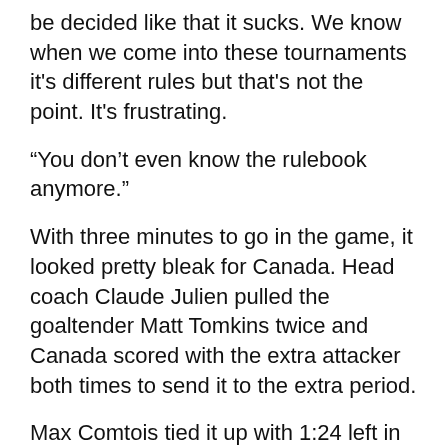be decided like that it sucks. We know when we come into these tournaments it's different rules but that's not the point. It's frustrating.
“You don’t even know the rulebook anymore.”
With three minutes to go in the game, it looked pretty bleak for Canada. Head coach Claude Julien pulled the goaltender Matt Tomkins twice and Canada scored with the extra attacker both times to send it to the extra period.
Max Comtois tied it up with 1:24 left in regulation and Zach Whitecloud of the Vegas Golden Knights brought the club to within one. At that point, it felt like Canada had all the momentum going into overtime and it didn’t look like the club could be stopped.